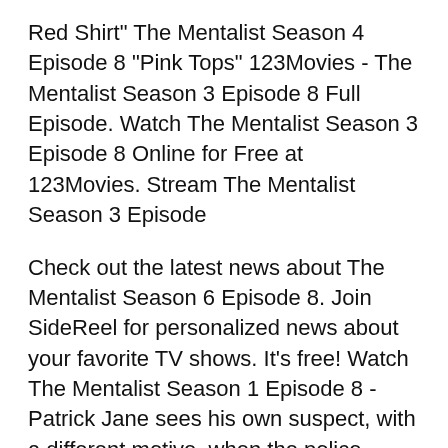Red Shirt" The Mentalist Season 4 Episode 8 "Pink Tops" 123Movies - The Mentalist Season 3 Episode 8 Full Episode. Watch The Mentalist Season 3 Episode 8 Online for Free at 123Movies. Stream The Mentalist Season 3 Episode
Check out the latest news about The Mentalist Season 6 Episode 8. Join SideReel for personalized news about your favorite TV shows. It's free! Watch The Mentalist Season 1 Episode 8 - Patrick Jane sees his own suspect, with a different motive, when the police believe a drug dealer on trial killed both his
'XPLOSION OF AWESOME THE MENTALIST THE GREAT RED